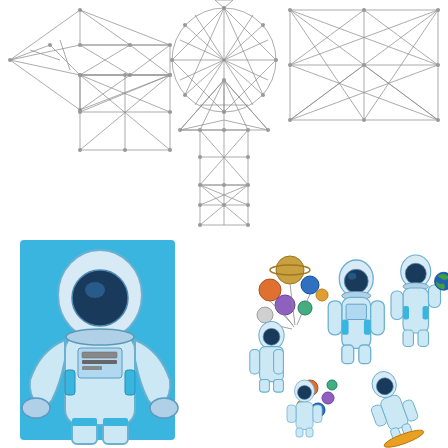[Figure (illustration): Low-poly geometric wireframe shapes: a left-pointing arrow shape on the left, a circle in the center-top, a rectangle on the right, and a large upward-pointing arrow shape in the center-bottom. All shapes are outlined with triangular mesh patterns in gray.]
[Figure (illustration): Detailed illustration of an astronaut in a white and blue spacesuit with a reflective helmet visor, set against a blue background. The astronaut is shown from the front in full body view.]
[Figure (illustration): Collection of cartoon astronaut sticker illustrations: a small astronaut standing, an astronaut holding planet balloons, an astronaut holding a globe, another astronaut floating, scattered planet/orb icons, and an astronaut riding a rocket/surfboard. All in white and blue spacesuit style.]